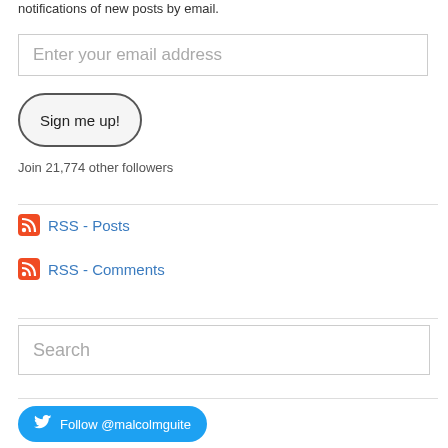notifications of new posts by email.
Enter your email address
Sign me up!
Join 21,774 other followers
RSS - Posts
RSS - Comments
Search
Follow @malcolmguite